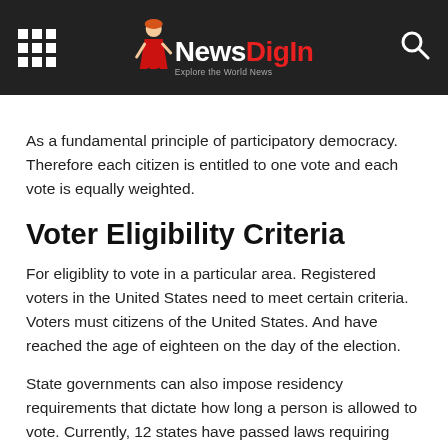NewsDigIn — Explore the World News
As a fundamental principle of participatory democracy. Therefore each citizen is entitled to one vote and each vote is equally weighted.
Voter Eligibility Criteria
For eligiblity to vote in a particular area. Registered voters in the United States need to meet certain criteria. Voters must citizens of the United States. And have reached the age of eighteen on the day of the election.
State governments can also impose residency requirements that dictate how long a person is allowed to vote. Currently, 12 states have passed laws requiring voters.